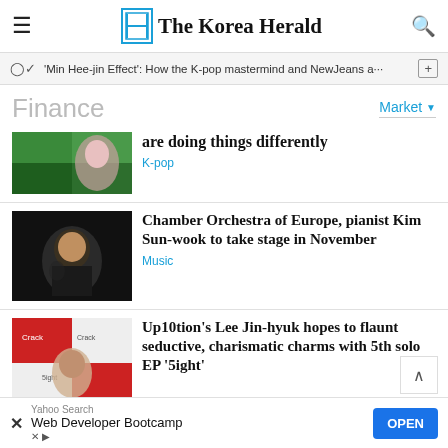The Korea Herald
'Min Hee-jin Effect': How the K-pop mastermind and NewJeans a…
Finance
Market
are doing things differently
K-pop
Chamber Orchestra of Europe, pianist Kim Sun-wook to take stage in November
Music
Up10tion's Lee Jin-hyuk hopes to flaunt seductive, charismatic charms with 5th solo EP '5ight'
Yahoo Search — Web Developer Bootcamp — OPEN